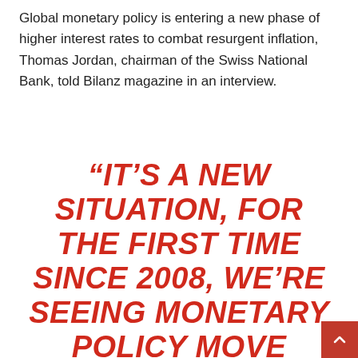Global monetary policy is entering a new phase of higher interest rates to combat resurgent inflation, Thomas Jordan, chairman of the Swiss National Bank, told Bilanz magazine in an interview.
“IT’S A NEW SITUATION, FOR THE FIRST TIME SINCE 2008, WE’RE SEEING MONETARY POLICY MOVE TOWARD TIGHTENING IN MOST CURRENCY AREAS,” JORDAN TOLD THE